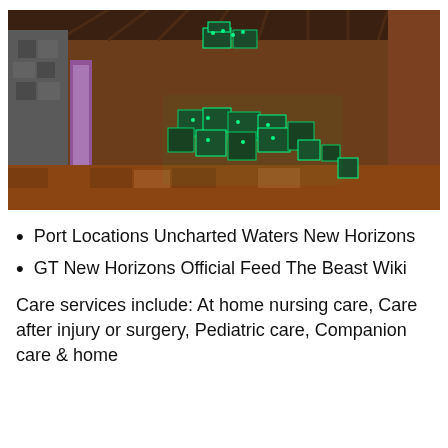[Figure (screenshot): Minecraft screenshot showing a dark cave/nether environment with green glowing blocks (likely command blocks or mod blocks) scattered on the ground and floating in the air, brown netherrack walls and ceiling, a purple portal visible on the left side.]
Port Locations Uncharted Waters New Horizons
GT New Horizons Official Feed The Beast Wiki
Care services include: At home nursing care, Care after injury or surgery, Pediatric care, Companion care & home